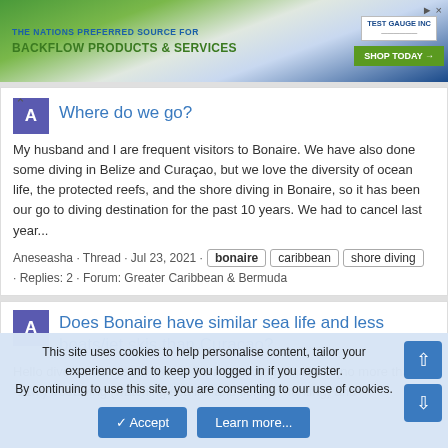[Figure (screenshot): Advertisement banner for Test Gauge Inc. showing 'THE NATIONS PREFERRED SOURCE FOR BACKFLOW PRODUCTS & SERVICES' with a 'SHOP TODAY' button]
Where do we go?
My husband and I are frequent visitors to Bonaire. We have also done some diving in Belize and Curaçao, but we love the diversity of ocean life, the protected reefs, and the shore diving in Bonaire, so it has been our go to diving destination for the past 10 years. We had to cancel last year...
Aneseasha · Thread · Jul 23, 2021 · bonaire caribbean shore diving · Replies: 2 · Forum: Greater Caribbean & Bermuda
Does Bonaire have similar sea life and less boats/jet skis than Curacao?
Hello divers!, last year I was in Curacao doing "shallow" (no more than -11m) freediving (watching sea life and lionfish hunting) and
This site uses cookies to help personalise content, tailor your experience and to keep you logged in if you register.
By continuing to use this site, you are consenting to our use of cookies.